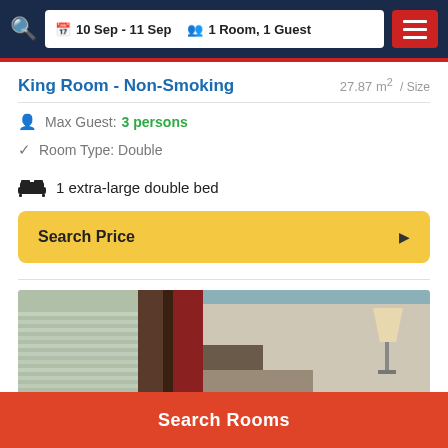10 Sep - 11 Sep  1 Room, 1 Guest
King Room - Non-Smoking
27.87 m² / Size
Max Guest: 3 persons
Room Type: Double
1 extra-large double bed
Search Price
[Figure (photo): Interior photo of a hotel king room showing window blinds and curtains on the left, and a lamp on the right side of the room.]
Search Rooms